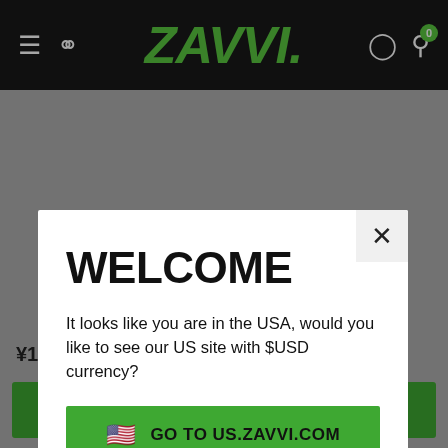ZAVVI navigation bar with hamburger menu, search icon, ZAVVI logo, account icon, cart icon with badge 0
[Figure (screenshot): Zavvi e-commerce website screenshot with dark navigation bar showing the ZAVVI logo in green, hamburger menu, search, account and cart icons]
WELCOME
It looks like you are in the USA, would you like to see our US site with $USD currency?
GO TO US.ZAVVI.COM
このまま ZAVVI.JP で続ける（日本版）
¥1,727
カートに追加	ウィッシュリスト